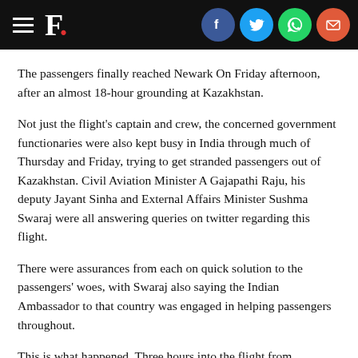F. [social icons: Facebook, Twitter, WhatsApp, Email]
The passengers finally reached Newark On Friday afternoon, after an almost 18-hour grounding at Kazakhstan.
Not just the flight's captain and crew, the concerned government functionaries were also kept busy in India through much of Thursday and Friday, trying to get stranded passengers out of Kazakhstan. Civil Aviation Minister A Gajapathi Raju, his deputy Jayant Sinha and External Affairs Minister Sushma Swaraj were all answering queries on twitter regarding this flight.
There were assurances from each on quick solution to the passengers' woes, with Swaraj also saying the Indian Ambassador to that country was engaged in helping passengers throughout.
This is what happened. Three hours into the flight from